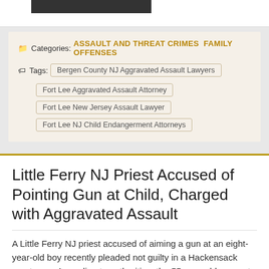[Figure (other): Dark rectangular image bar at the top of the page]
Categories: ASSAULT AND THREAT CRIMES FAMILY OFFENSES
Tags: Bergen County NJ Aggravated Assault Lawyers | Fort Lee Aggravated Assault Attorney | Fort Lee New Jersey Assault Lawyer | Fort Lee NJ Child Endangerment Attorneys
Little Ferry NJ Priest Accused of Pointing Gun at Child, Charged with Aggravated Assault
A Little Ferry NJ priest accused of aiming a gun at an eight-year-old boy recently pleaded not guilty in a Hackensack courtroom. According to authorities, the 55-year-old suspect pointed the firearm at the young